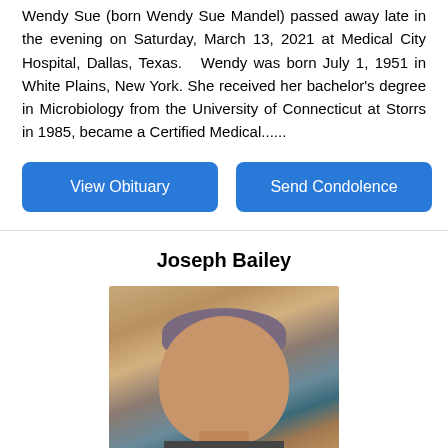Wendy Sue (born Wendy Sue Mandel) passed away late in the evening on Saturday, March 13, 2021 at Medical City Hospital, Dallas, Texas.  Wendy was born July 1, 1951 in White Plains, New York. She received her bachelor's degree in Microbiology from the University of Connecticut at Storrs in 1985, became a Certified Medical......
[Figure (other): Blue button labeled 'View Obituary']
[Figure (other): Blue button labeled 'Send Condolence']
Joseph Bailey
[Figure (photo): Portrait photo of Joseph Bailey, a man with short hair, close-up face shot, indoors with colorful artwork visible in the background]